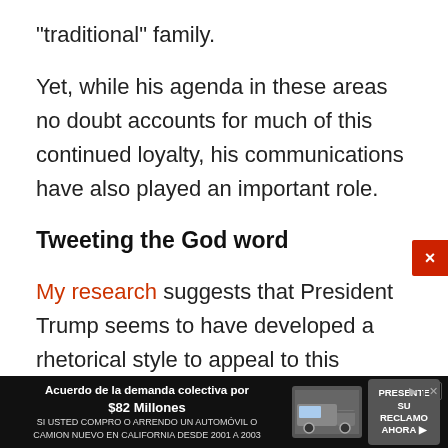"traditional" family.
Yet, while his agenda in these areas no doubt accounts for much of this continued loyalty, his communications have also played an important role.
Tweeting the God word
My research suggests that President Trump seems to have developed a rhetorical style to appeal to this constituency.
To examine how Trump compares with his predecessors in terms of the language he uses, I
[Figure (other): Advertisement bar at the bottom: 'Acuerdo de la demanda colectiva por $82 Millones - SI USTED COMPRO O ARRENDO UN AUTOMÓVIL O CAMION NUEVO EN CALIFORNIA DESDE 2001 A 2003 - PRESENTE SU RECLAMO AHORA']